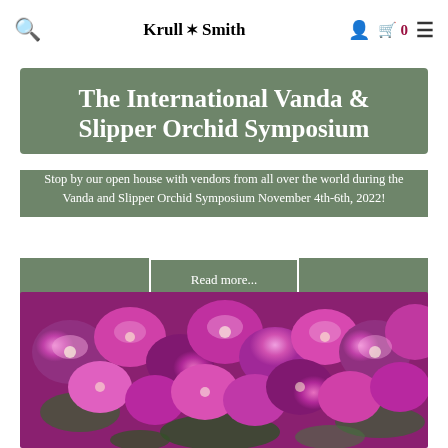Krull & Smith — Search, Account, Cart (0), Menu
The International Vanda & Slipper Orchid Symposium
Stop by our open house with vendors from all over the world during the Vanda and Slipper Orchid Symposium November 4th-6th, 2022!
Read more...
[Figure (photo): Close-up photo of bright pink/magenta orchid blooms (Vanda orchids) densely clustered together with green foliage visible between flowers]